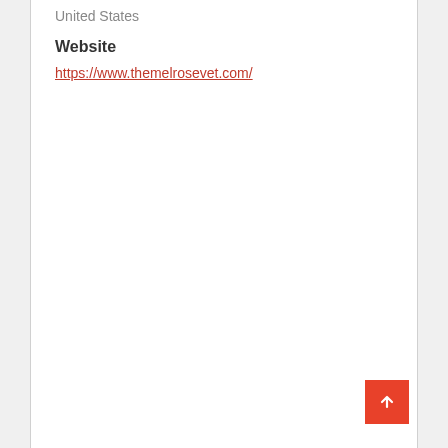United States
Website
https://www.themelrosevet.com/